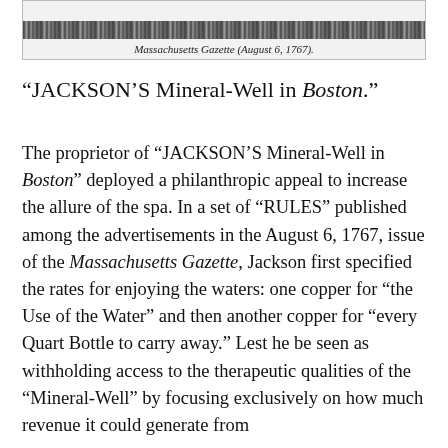[Figure (other): Scanned newspaper masthead or header image from the Massachusetts Gazette (August 6, 1767), shown as a dark decorative bar at the top of the image box.]
Massachusetts Gazette (August 6, 1767).
“JACKSON’S Mineral-Well in Boston.”
The proprietor of “JACKSON’S Mineral-Well in Boston” deployed a philanthropic appeal to increase the allure of the spa. In a set of “RULES” published among the advertisements in the August 6, 1767, issue of the Massachusetts Gazette, Jackson first specified the rates for enjoying the waters: one copper for “the Use of the Water” and then another copper for “every Quart Bottle to carry away.” Lest he be seen as withholding access to the therapeutic qualities of the “Mineral-Well” by focusing exclusively on how much revenue it could generate from